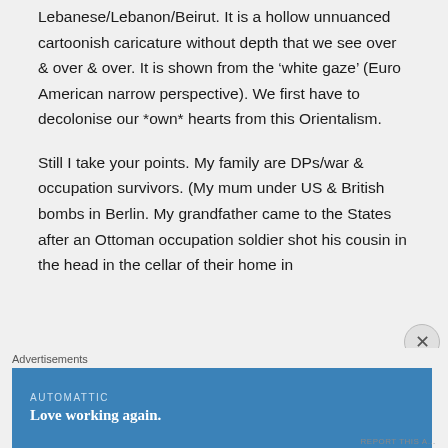Lebanese/Lebanon/Beirut. It is a hollow unnuanced cartoonish caricature without depth that we see over & over & over. It is shown from the 'white gaze' (Euro American narrow perspective). We first have to decolonise our *own* hearts from this Orientalism.
Still I take your points. My family are DPs/war & occupation survivors. (My mum under US & British bombs in Berlin. My grandfather came to the States after an Ottoman occupation soldier shot his cousin in the head in the cellar of their home in
Advertisements
[Figure (other): Blue advertisement banner for Automattic with tagline 'Love working again.']